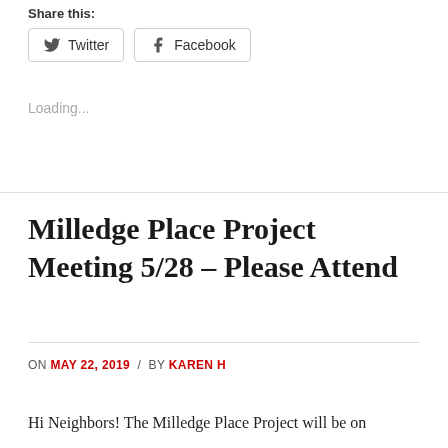Share this:
Twitter  Facebook
Loading...
Milledge Place Project Meeting 5/28 – Please Attend
ON MAY 22, 2019 / BY KAREN H
Hi Neighbors! The Milledge Place Project will be on